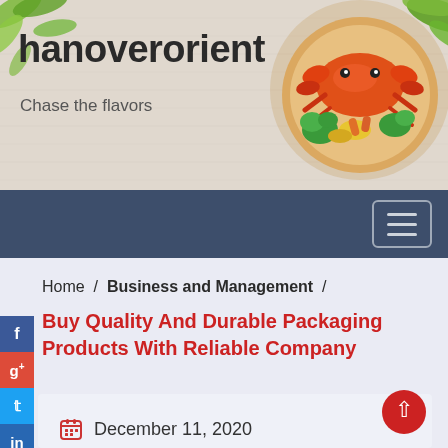[Figure (screenshot): Website header banner with food image (crab, vegetables on plate), green leaf decorations, linen texture background]
hanoverorient
Chase the flavors
[Figure (screenshot): Dark navy navigation bar with hamburger menu icon button on the right]
Home  /  Business and Management  /
Buy Quality And Durable Packaging Products With Reliable Company
December 11, 2020